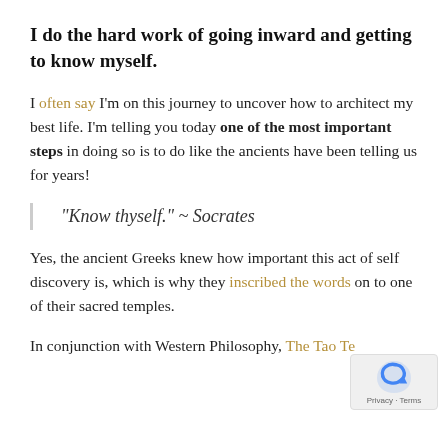I do the hard work of going inward and getting to know myself.
I often say I'm on this journey to uncover how to architect my best life. I'm telling you today one of the most important steps in doing so is to do like the ancients have been telling us for years!
“Know thyself.” ~ Socrates
Yes, the ancient Greeks knew how important this act of self discovery is, which is why they inscribed the words on to one of their sacred temples.
In conjunction with Western Philosophy, The Tao Te